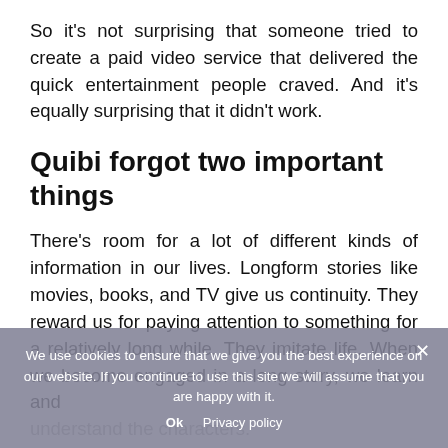So it's not surprising that someone tried to create a paid video service that delivered the quick entertainment people craved. And it's equally surprising that it didn't work.
Quibi forgot two important things
There's room for a lot of different kinds of information in our lives. Longform stories like movies, books, and TV give us continuity. They reward us for paying attention to something for a relatively long while. They imitate life. When we become engaged in a long story, we learn and understand the characters.
You can't do that in six minutes. Period. And that's what Quibi forgot.
We use cookies to ensure that we give you the best experience on our website. If you continue to use this site we will assume that you are happy with it.
Ok   Privacy policy